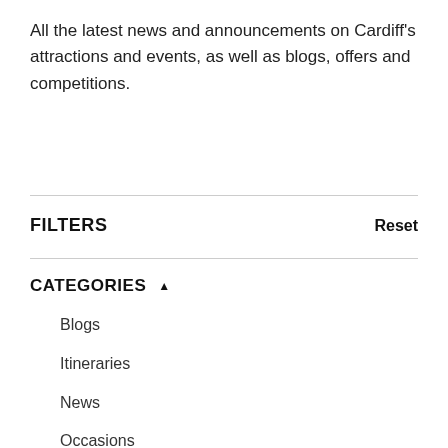All the latest news and announcements on Cardiff's attractions and events, as well as blogs, offers and competitions.
FILTERS
Reset
CATEGORIES ▲
Blogs
Itineraries
News
Occasions
Press Releases
SameDiff